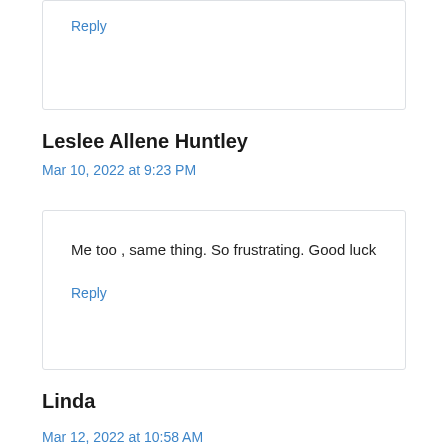Reply
Leslee Allene Huntley
Mar 10, 2022 at 9:23 PM
Me too , same thing. So frustrating. Good luck
Reply
Linda
Mar 12, 2022 at 10:58 AM